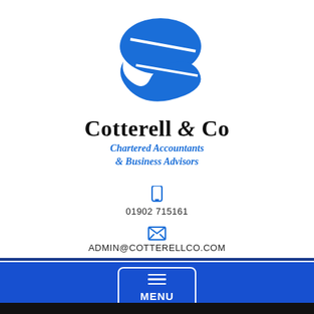[Figure (logo): Cotterell & Co logo: blue abstract C-shape design with two swooping blue shapes forming a stylized letter C]
Cotterell & Co
Chartered Accountants & Business Advisors
01902 715161
ADMIN@COTTERELLCO.COM
SEARCH
MENU